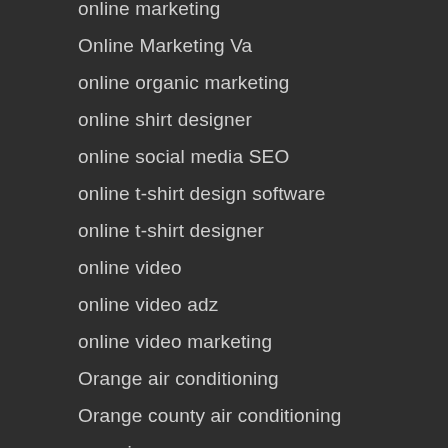online marketing
Online Marketing Va
online organic marketing
online shirt designer
online social media SEO
online t-shirt design software
online t-shirt designer
online video
online video adz
online video marketing
Orange air conditioning
Orange county air conditioning
organic
Organic WebPage
pa insurance compnay
page one
Pasad